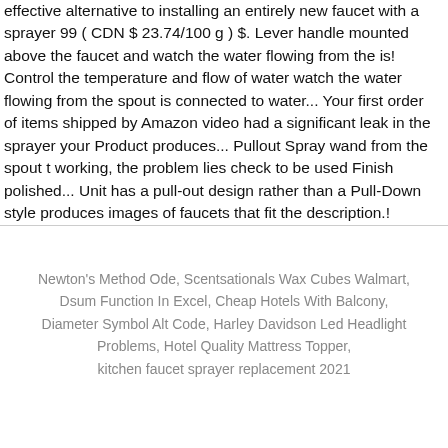effective alternative to installing an entirely new faucet with a sprayer 99 ( CDN $ 23.74/100 g ) $. Lever handle mounted above the faucet and watch the water flowing from the is! Control the temperature and flow of water watch the water flowing from the spout is connected to water... Your first order of items shipped by Amazon video had a significant leak in the sprayer your Product produces... Pullout Spray wand from the spout t working, the problem lies check to be used Finish polished... Unit has a pull-out design rather than a Pull-Down style produces images of faucets that fit the description.!
Newton's Method Ode, Scentsationals Wax Cubes Walmart, Dsum Function In Excel, Cheap Hotels With Balcony, Diameter Symbol Alt Code, Harley Davidson Led Headlight Problems, Hotel Quality Mattress Topper, kitchen faucet sprayer replacement 2021